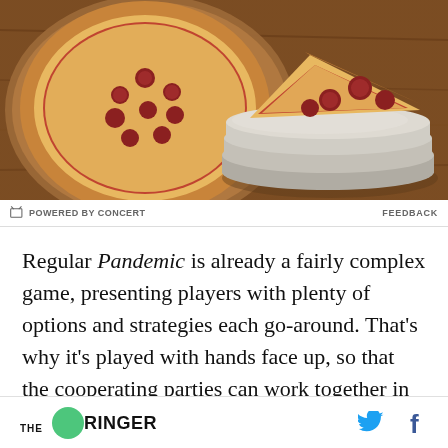[Figure (photo): Pizza photo showing a whole pizza on a wooden board and a slice of pizza on a stacked plate set, on a dark wood table surface]
POWERED BY CONCERT    FEEDBACK
Regular Pandemic is already a fairly complex game, presenting players with plenty of options and strategies each go-around. That’s why it’s played with hands face up, so that the cooperating parties can work together in the hopes of defeating the diseases ravaging the world. Legacy takes those rules, adds a few, and then later adds a
THE RINGER